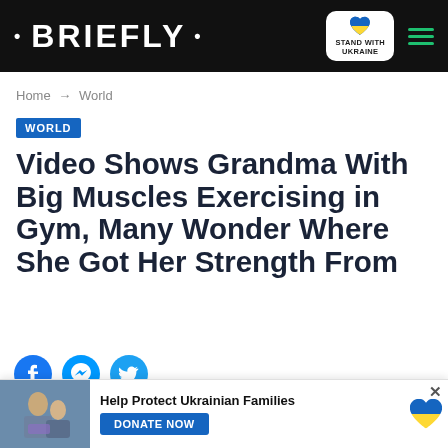• BRIEFLY •
Home → World
WORLD
Video Shows Grandma With Big Muscles Exercising in Gym, Many Wonder Where She Got Her Strength From
[Figure (other): Social share icons: Facebook, Messenger, Twitter]
Tuesday, December 07, 2021 at 5:38 PM • by Kelly Lippke
[Figure (other): Ad banner: Help Protect Ukrainian Families – DONATE NOW with photo of people and Ukraine heart logo]